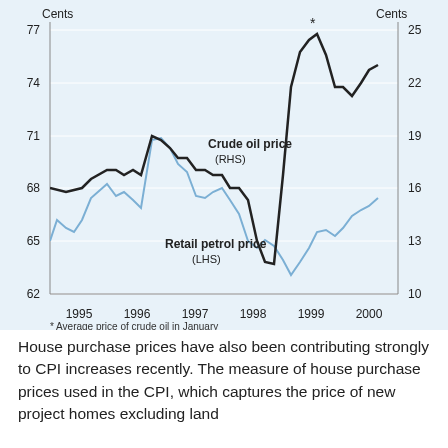[Figure (line-chart): Retail petrol price and Crude oil price]
House purchase prices have also been contributing strongly to CPI increases recently. The measure of house purchase prices used in the CPI, which captures the price of new project homes excluding land...